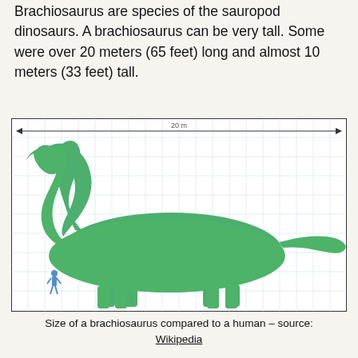Brachiosaurus are species of the sauropod dinosaurs. A brachiosaurus can be very tall. Some were over 20 meters (65 feet) long and almost 10 meters (33 feet) tall.
[Figure (illustration): Scale diagram showing a green brachiosaurus silhouette next to a small blue human figure for size comparison. A horizontal arrow at the top spans the length labeled '20 m'. The background has a light grid pattern.]
Size of a brachiosaurus compared to a human – source: Wikipedia